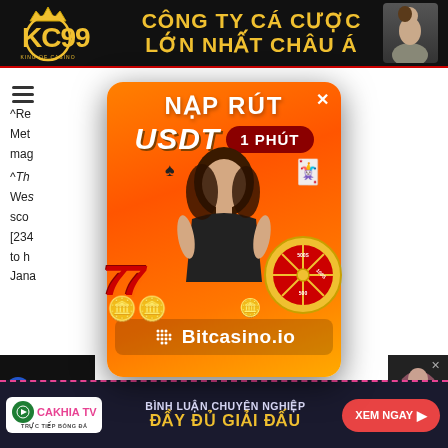[Figure (screenshot): KC99 casino banner ad: black background with gold KC99 logo on left, Vietnamese text 'CÔNG TY CÁ CƯỢC LỚN NHẤT CHÂU Á' in gold in center, woman on right]
^Re... and Meta... mag... ^The... only Wes... erfect sco... [234... RPG to h... Japa...
[Figure (screenshot): Orange popup modal advertisement: NẠP RÚT header, USDT 1 PHÚT badge, girl with casino elements (777 slot machine, spin wheel, playing cards), Bitcasino.io branding at bottom]
[Figure (screenshot): Bottom left side ad: i9 BET logo on dark background]
[Figure (screenshot): Bottom right side ad: Woman on dark background with X button]
[Figure (screenshot): Bottom banner: Cakhia TV logo, 'BÌNH LUẬN CHUYÊN NGHIỆP ĐẦY ĐỦ GIẢI ĐẤU' text, XEM NGAY button]